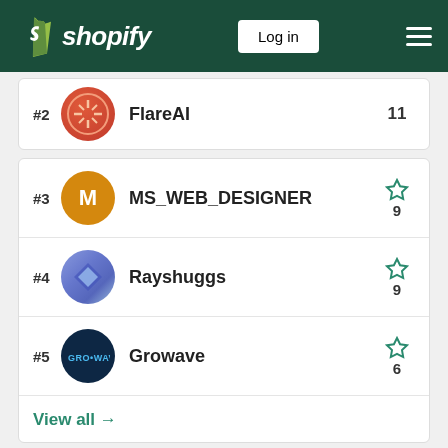Shopify — Log in
#2 FlareAI — 11
#3 MS_WEB_DESIGNER — 9
#4 Rayshuggs — 9
#5 Growave — 6
View all →